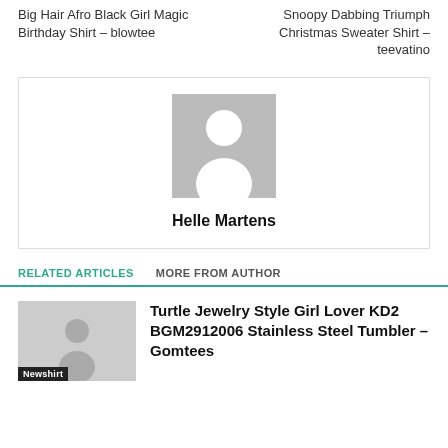Big Hair Afro Black Girl Magic Birthday Shirt – blowtee
Snoopy Dabbing Triumph Christmas Sweater Shirt – teevatino
[Figure (illustration): Author avatar placeholder - grey silhouette of a person on grey background]
Helle Martens
RELATED ARTICLES  MORE FROM AUTHOR
[Figure (photo): Thumbnail image placeholder with Newshirt label]
Turtle Jewelry Style Girl Lover KD2 BGM2912006 Stainless Steel Tumbler – Gomtees